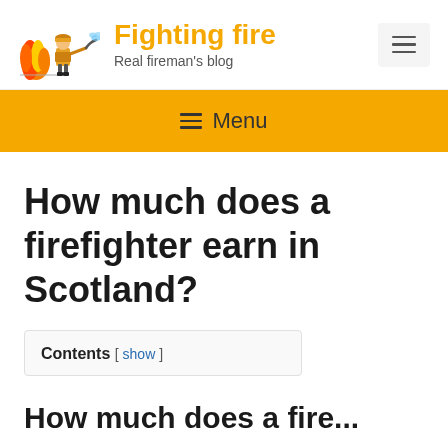Fighting fire — Real fireman's blog
≡ Menu
How much does a firefighter earn in Scotland?
Contents [ show ]
How much does a fire...